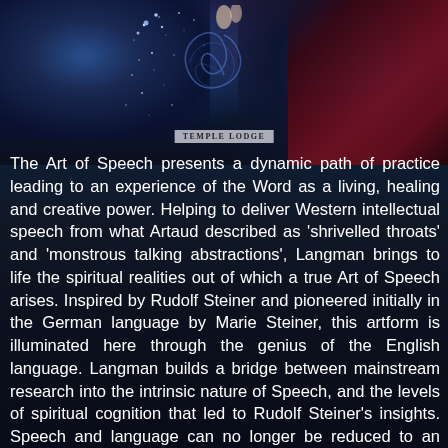[Figure (illustration): Book cover background image showing starry cosmic swirl on left, red curtain/theater on right, with 'TEMPLE LODGE' publisher label centered at bottom of the image area.]
The Art of Speech presents a dynamic path of practice leading to an experience of the Word as a living, healing and creative power. Helping to deliver Western intellectual speech from what Artaud described as ‘shrivelled throats’ and ‘monstrous talking abstractions’, Langman brings to life the spiritual realities out of which a true Art of Speech arises. Inspired by Rudolf Steiner and pioneered initially in the German language by Marie Steiner, this artform is illuminated here through the genius of the English language. Langman builds a bridge between mainstream research into the intrinsic nature of Speech, and the levels of spiritual cognition that led to Rudolf Steiner’s insights. Speech and language can no longer be reduced to an arbitrary collection of abstract symbols, she asserts. This book will inspire those working with these disciplines as practitioners (both artistic and therapeutic) as well as those who wish to understand their significance in human evolution, both past and future. Following her first book The Art of Acting, this volume completes a foundation of understanding for an exploration – in the conclusion of Langman’s trilogy – of an integrated art of